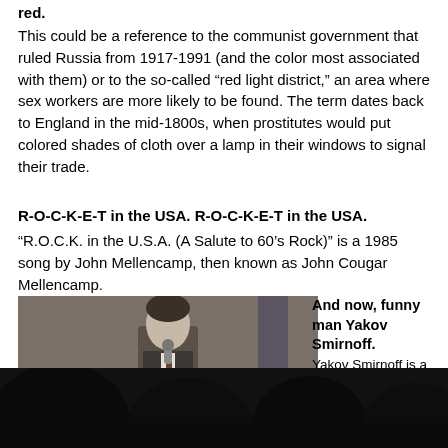red.
This could be a reference to the communist government that ruled Russia from 1917-1991 (and the color most associated with them) or to the so-called “red light district,” an area where sex workers are more likely to be found. The term dates back to England in the mid-1800s, when prostitutes would put colored shades of cloth over a lamp in their windows to signal their trade.
R-O-C-K-E-T in the USA. R-O-C-K-E-T in the USA.
“R.O.C.K. in the U.S.A. (A Salute to 60’s Rock)” is a 1985 song by John Mellencamp, then known as John Cougar Mellencamp.
Mind if I mooch off your fintoozler?
See previous note.
[Figure (photo): A person visible at a podium or table, with silhouetted audience heads in the foreground bottom, and a flag visible in the background.]
And now, funny man Yakov Smirnoff. Yakov Smirnoff is a R...